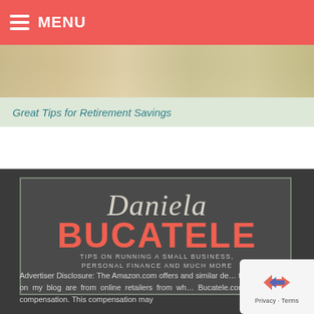MENU
[Figure (photo): Partial photo visible at top, appears to show an animal (possibly a dog) with light fur against a blurred background]
Great Tips for Retirement Savings
[Figure (logo): Daniela Bucatele blog logo — script 'Daniela' above bold coral/salmon 'BUCATELE' text, with tagline 'TIPS ON RUNNING A SMALL BUSINESS, PERSONAL FINANCE AND MUCH MORE' on dark gray background]
Advertiser Disclosure: The Amazon.com offers and similar deals that appear on my blog are from online retailers from which Bucatele.com receives compensation. This compensation may